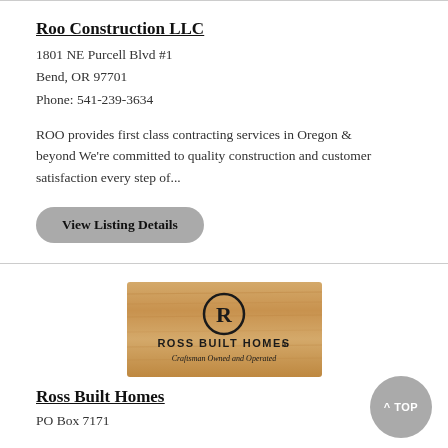Roo Construction LLC
1801 NE Purcell Blvd #1
Bend, OR 97701
Phone: 541-239-3634
ROO provides first class contracting services in Oregon & beyond We're committed to quality construction and customer satisfaction every step of...
View Listing Details
[Figure (logo): Ross Built Homes LLC logo — wood grain background with R in circle, text 'ROSS BUILT HOMES LLC' and 'Craftsman Owned and Operated']
Ross Built Homes
PO Box 7171